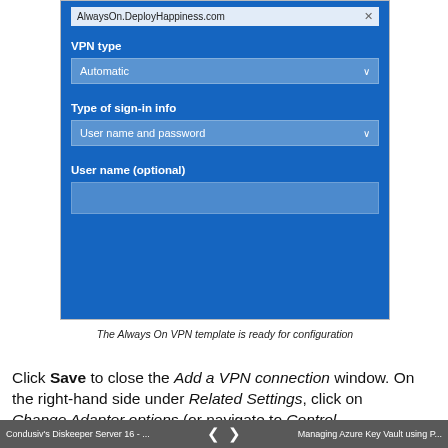[Figure (screenshot): Windows 10 VPN connection settings panel showing fields: a text input with 'AlwaysOn.DeployHappiness.com', VPN type dropdown set to 'Automatic', Type of sign-in info dropdown set to 'User name and password', and an empty User name (optional) text field. Blue background UI.]
The Always On VPN template is ready for configuration
Click Save to close the Add a VPN connection window. On the right-hand side under Related Settings, click on Change Adapter options (or navigate to Control Panel\Network and Internet\Network Connections).
Condusiv's Diskeeper Server 16 - ...    ❮  ❯    Managing Azure Key Vault using P...